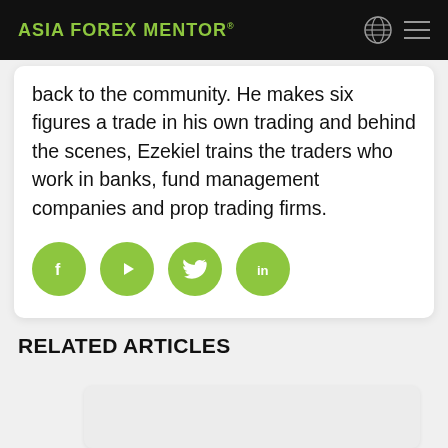ASIA FOREX MENTOR®
back to the community. He makes six figures a trade in his own trading and behind the scenes, Ezekiel trains the traders who work in banks, fund management companies and prop trading firms.
[Figure (infographic): Four green circular social media icon buttons: Facebook, YouTube, Twitter, LinkedIn]
RELATED ARTICLES
[Figure (photo): Article card placeholder image]